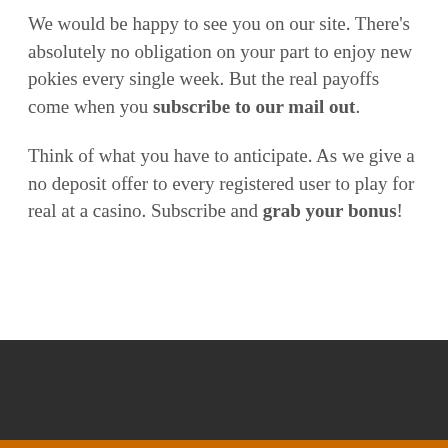We would be happy to see you on our site. There's absolutely no obligation on your part to enjoy new pokies every single week. But the real payoffs come when you subscribe to our mail out.
Think of what you have to anticipate. As we give a no deposit offer to every registered user to play for real at a casino. Subscribe and grab your bonus!